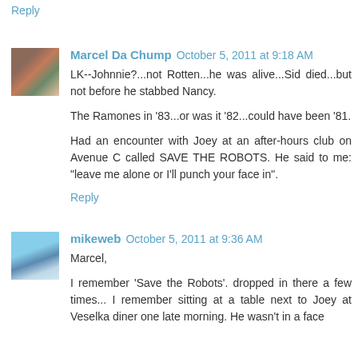Reply
Marcel Da Chump  October 5, 2011 at 9:18 AM
LK--Johnnie?...not Rotten...he was alive...Sid died...but not before he stabbed Nancy.

The Ramones in '83...or was it '82...could have been '81.

Had an encounter with Joey at an after-hours club on Avenue C called SAVE THE ROBOTS. He said to me: "leave me alone or I'll punch your face in".
Reply
mikeweb  October 5, 2011 at 9:36 AM
Marcel,

I remember 'Save the Robots'. dropped in there a few times... I remember sitting at a table next to Joey at Veselka diner one late morning. He wasn't in a face